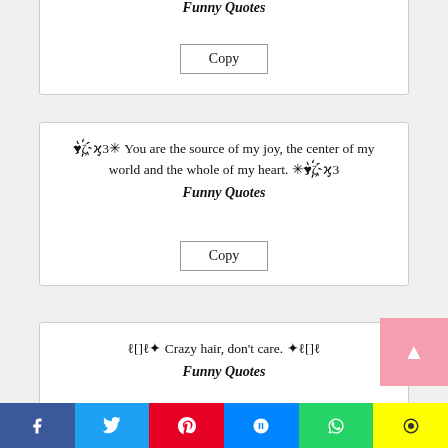Funny Quotes
Copy
♥ζ҉ϗ3✳ You are the source of my joy, the center of my world and the whole of my heart. ✳♥ζ҉ϗ3
Funny Quotes
Copy
ℓ[]ℓ✦ Crazy hair, don't care. ✦ℓ[]ℓ
Funny Quotes
Copy